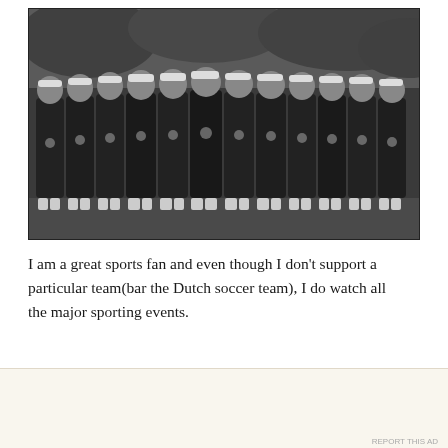[Figure (photo): Black and white historical photograph of a women's sports team, approximately 12 women standing in a row wearing dark athletic uniforms with badges and white headbands/caps. Taken outdoors with foliage in the background.]
I am a great sports fan and even though I don't support a particular team(bar the Dutch soccer team), I do watch all the major sporting events.
Advertisements
Professionally designed sites in less than a week